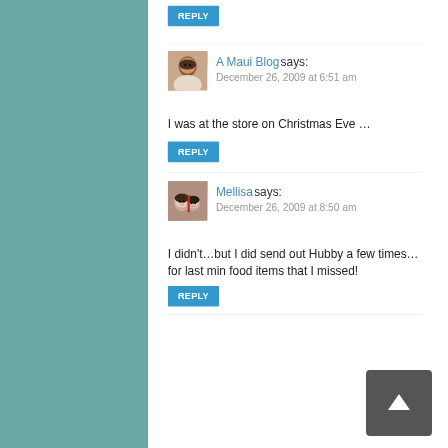REPLY
A Maui Blog says:
December 26, 2009 at 6:51 am
I was at the store on Christmas Eve …
REPLY
Mellisa says:
December 26, 2009 at 8:50 am
I didn't…but I did send out Hubby a few times…for last min food items that I missed!
REPLY